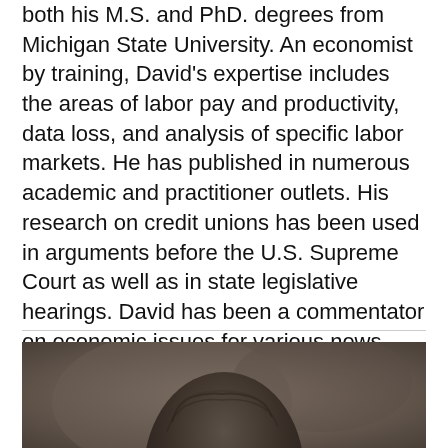both his M.S. and PhD. degrees from Michigan State University. An economist by training, David's expertise includes the areas of labor pay and productivity, data loss, and analysis of specific labor markets. He has published in numerous academic and practitioner outlets. His research on credit unions has been used in arguments before the U.S. Supreme Court as well as in state legislative hearings. David has been a commentator on economic issues for various news media, such as CNN, the London Times, Los Angeles Times, Baltimore Sun, USA Today, the New York Times, and the Investor's Business Daily.
[Figure (photo): Portrait photo of a person, showing the top of their head and hair, cropped at the bottom of the page. Background is blurred brownish/grey tones.]